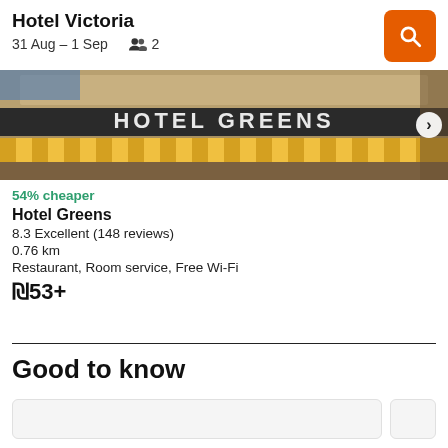Hotel Victoria
31 Aug – 1 Sep   2
[Figure (photo): Hotel Greens exterior photo showing ornate facade with the words HOTEL GREENS and striped awning. A right-arrow navigation button is visible on the right side.]
54% cheaper
Hotel Greens
8.3 Excellent (148 reviews)
0.76 km
Restaurant, Room service, Free Wi-Fi
₪53+
Good to know